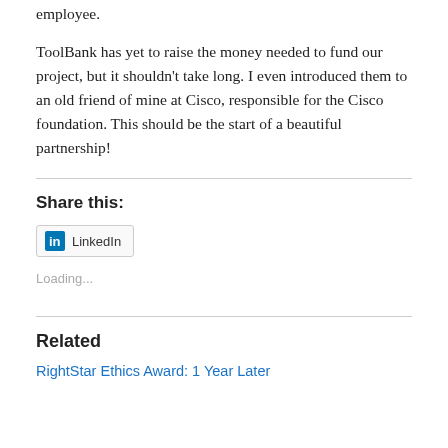employee.
ToolBank has yet to raise the money needed to fund our project, but it shouldn't take long.  I even introduced them to an old friend of mine at Cisco, responsible for the Cisco foundation.  This should be the start of a beautiful partnership!
Share this:
[Figure (other): LinkedIn share button with LinkedIn icon]
Loading...
Related
RightStar Ethics Award: 1 Year Later